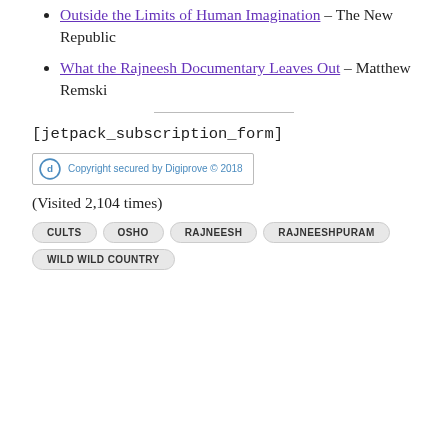Outside the Limits of Human Imagination – The New Republic
What the Rajneesh Documentary Leaves Out – Matthew Remski
[jetpack_subscription_form]
[Figure (other): Digiprove copyright badge: Copyright secured by Digiprove © 2018]
(Visited 2,104 times)
CULTS  OSHO  RAJNEESH  RAJNEESHPURAM  WILD WILD COUNTRY